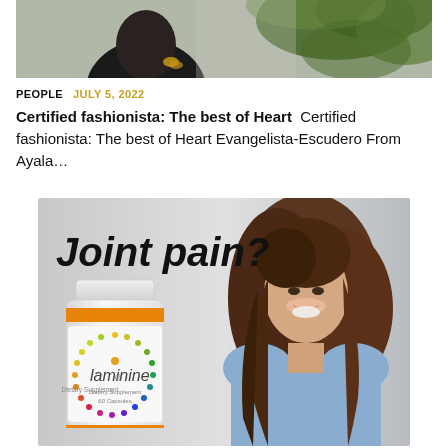[Figure (photo): Partial photo of a person wearing dark clothing and a bracelet, with green foliage visible on the right side, cropped at the top of the page]
PEOPLE   JULY 5, 2022
Certified fashionista: The best of Heart  Certified fashionista: The best of Heart Evangelista-Escudero From Ayala…
[Figure (advertisement): Advertisement for Laminine dietary supplement showing text 'Joint pain?' in bold italic, a white supplement bottle with orange stripe and colorful dotted Laminine logo, and a smiling brunette woman in a light blue shirt on a gray background]